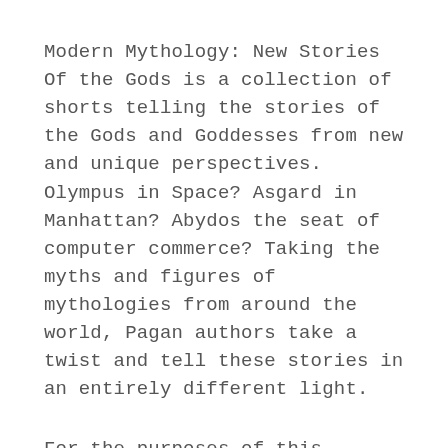Modern Mythology: New Stories Of the Gods is a collection of shorts telling the stories of the Gods and Goddesses from new and unique perspectives. Olympus in Space? Asgard in Manhattan? Abydos the seat of computer commerce? Taking the myths and figures of mythologies from around the world, Pagan authors take a twist and tell these stories in an entirely different light.
For the purposes of this anthology the term “Pagan” is broadly defined as any spiritual or religious path that embraces Earth, poly-, pan-, and non-traditional monotheistic paths, nontheistic paths may also fall into this definition. Pagan themes or characters are central to this anthology. The scope is not limited to any one genre, time frame, or...